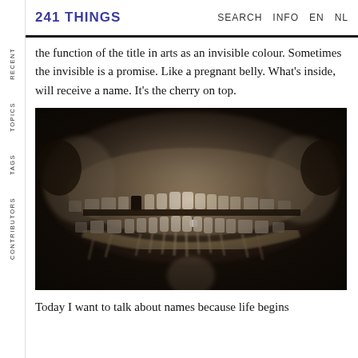241 THINGS   SEARCH   INFO   EN   NL
the function of the title in arts as an invisible colour. Sometimes the invisible is a promise. Like a pregnant belly. What's inside, will receive a name. It's the cherry on top.
[Figure (photo): Panoramic dental X-ray showing full set of teeth, upper and lower jaw, in sepia/grayscale tones]
Today I want to talk about names because life begins